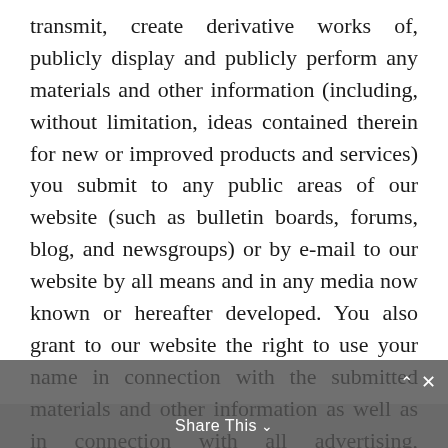transmit, create derivative works of, publicly display and publicly perform any materials and other information (including, without limitation, ideas contained therein for new or improved products and services) you submit to any public areas of our website (such as bulletin boards, forums, blog, and newsgroups) or by e-mail to our website by all means and in any media now known or hereafter developed. You also grant to our website the right to use your name in connection with the submitted materials and other information as well as in connection with all advertising, marketing and promotional material related thereto. You agree that you shall have no recourse
Share This ∨